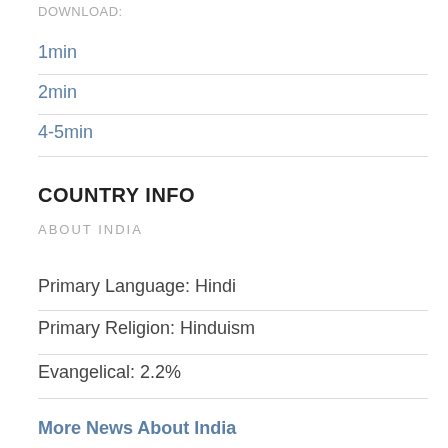DOWNLOAD:
1min
2min
4-5min
COUNTRY INFO
ABOUT INDIA
Primary Language: Hindi
Primary Religion: Hinduism
Evangelical: 2.2%
More News About India